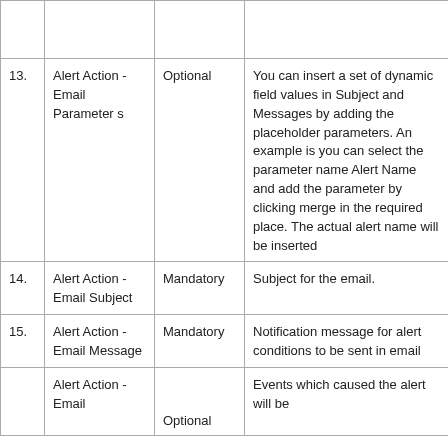| # | Field | Type | Description |
| --- | --- | --- | --- |
|  |  |  |  |
| 13. | Alert Action - Email Parameters | Optional | You can insert a set of dynamic field values in Subject and Messages by adding the placeholder parameters. An example is you can select the parameter name Alert Name and add the parameter by clicking merge in the required place. The actual alert name will be inserted |
| 14. | Alert Action - Email Subject | Mandatory | Subject for the email. |
| 15. | Alert Action - Email Message | Mandatory | Notification message for alert conditions to be sent in email |
|  | Alert Action - Email | Optional | Events which caused the alert will be |